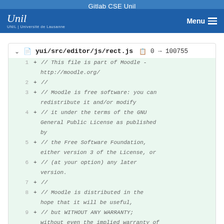Gitlab CSE Unil
[Figure (screenshot): University of Lausanne (UNIL) logo with Menu button on blue navigation bar]
yui/src/editor/js/rect.js  0 → 100755
1  + // This file is part of Moodle - http://moodle.org/
2  + //
3  + // Moodle is free software: you can redistribute it and/or modify
4  + // it under the terms of the GNU General Public License as published by
5  + // the Free Software Foundation, either version 3 of the License, or
6  + // // (at your option) any later version.
7  + //
8  + // Moodle is distributed in the hope that it will be useful,
9  + // but WITHOUT ANY WARRANTY; without even the implied warranty of